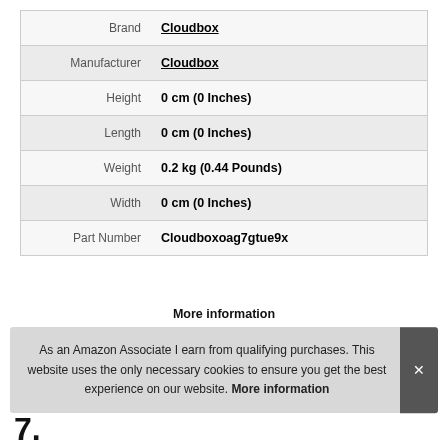| Attribute | Value |
| --- | --- |
| Brand | Cloudbox |
| Manufacturer | Cloudbox |
| Height | 0 cm (0 Inches) |
| Length | 0 cm (0 Inches) |
| Weight | 0.2 kg (0.44 Pounds) |
| Width | 0 cm (0 Inches) |
| Part Number | Cloudboxoag7gtue9x |
More information
As an Amazon Associate I earn from qualifying purchases. This website uses the only necessary cookies to ensure you get the best experience on our website. More information
7.